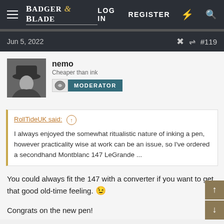BADGER & BLADE — LOG IN  REGISTER
Jun 5, 2022    #119
nemo
Cheaper than ink
MODERATOR
RollTideUK said:
I always enjoyed the somewhat ritualistic nature of inking a pen, however practicality wise at work can be an issue, so I've ordered a secondhand Montblanc 147 LeGrande ...
You could always fit the 147 with a converter if you want to get that good old-time feeling. 😉
Congrats on the new pen!